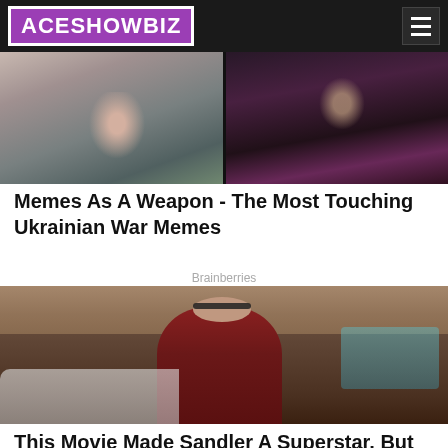ACESHOWBIZ
[Figure (photo): Two side-by-side images: left shows two people embracing outdoors, right shows a man in a tuxedo with bow tie]
Memes As A Weapon - The Most Touching Ukrainian War Memes
Brainberries
[Figure (photo): Man with beard wearing sunglasses and a red hoodie sweatshirt, standing near a white car with a building sign in the background]
This Movie Made Sandler A Superstar, But He